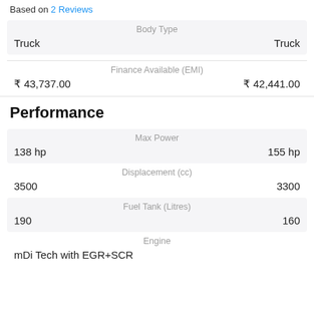Based on 2 Reviews
|  | Body Type |  |
| --- | --- | --- |
| Truck |  | Truck |
|  | Finance Available (EMI) |  |
| --- | --- | --- |
| ₹ 43,737.00 |  | ₹ 42,441.00 |
Performance
|  | Max Power |  |
| --- | --- | --- |
| 138 hp |  | 155 hp |
|  | Displacement (cc) |  |
| --- | --- | --- |
| 3500 |  | 3300 |
|  | Fuel Tank (Litres) |  |
| --- | --- | --- |
| 190 |  | 160 |
|  | Engine |  |
| --- | --- | --- |
| mDi Tech with EGR+SCR |  |  |